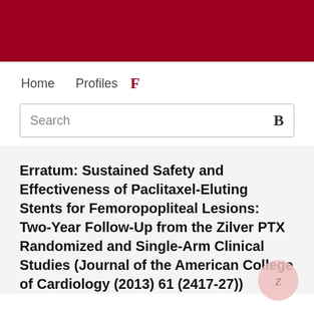Home   Profiles   F
Search
Erratum: Sustained Safety and Effectiveness of Paclitaxel-Eluting Stents for Femoropopliteal Lesions: Two-Year Follow-Up from the Zilver PTX Randomized and Single-Arm Clinical Studies (Journal of the American College of Cardiology (2013) 61 (2417-27))